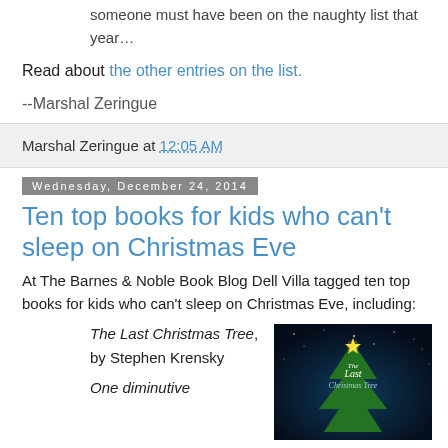someone must have been on the naughty list that year…
Read about the other entries on the list.
--Marshal Zeringue
Marshal Zeringue at 12:05 AM
Wednesday, December 24, 2014
Ten top books for kids who can't sleep on Christmas Eve
At The Barnes & Noble Book Blog Dell Villa tagged ten top books for kids who can't sleep on Christmas Eve, including:
The Last Christmas Tree, by Stephen Krensky
[Figure (photo): Book cover of The Last Christmas Tree showing a Christmas tree with a star and dark blue background]
One diminutive